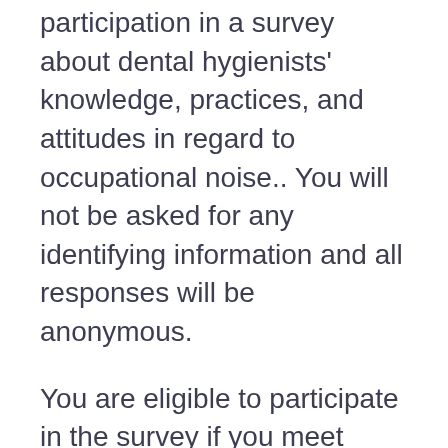participation in a survey about dental hygienists' knowledge, practices, and attitudes in regard to occupational noise.. You will not be asked for any identifying information and all responses will be anonymous.
You are eligible to participate in the survey if you meet these requirements:
You are a registered dental hygienist within the US; you are currently practicing and working in...